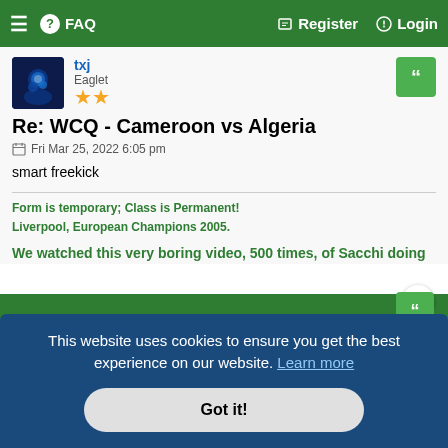≡  FAQ  Register  Login
txj
Eaglot
★★
Re: WCQ - Cameroon vs Algeria
Fri Mar 25, 2022 6:05 pm
smart freekick
Form is temporary; Class is Permanent!
Liverpool, European Champions 2005.
We watched this very boring video, 500 times, of Sacchi doing ...i, ...other ...thing is ...n Klopp
This website uses cookies to ensure you get the best experience on our website. Learn more
Got it!